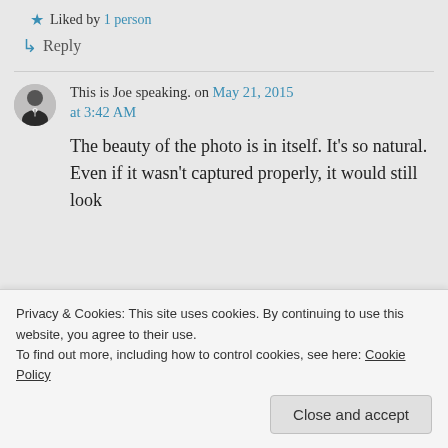Liked by 1 person
↳ Reply
This is Joe speaking. on May 21, 2015 at 3:42 AM
The beauty of the photo is in itself. It's so natural. Even if it wasn't captured properly, it would still look beautiful.
Privacy & Cookies: This site uses cookies. By continuing to use this website, you agree to their use. To find out more, including how to control cookies, see here: Cookie Policy